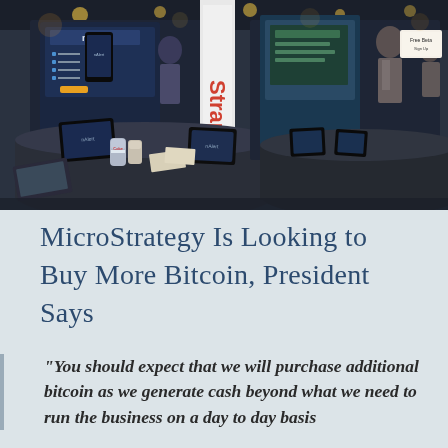[Figure (photo): Photo of an indoor expo or conference booth setup with dark tablecloths, tablets and smartphone display screens showing an app called 'nAlert', Coke cans, and various booth signage including a banner partially reading 'Strap'. Multiple booths visible in background with warm overhead lighting.]
MicroStrategy Is Looking to Buy More Bitcoin, President Says
“You should expect that we will purchase additional bitcoin as we generate cash beyond what we need to run the business on a day to day basis